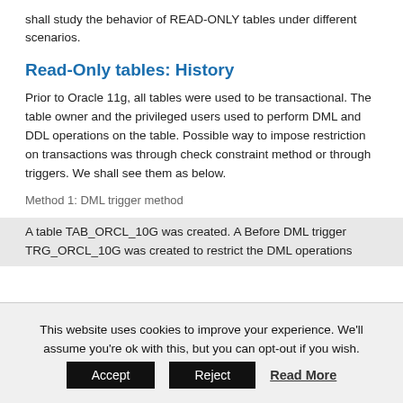shall study the behavior of READ-ONLY tables under different scenarios.
Read-Only tables: History
Prior to Oracle 11g, all tables were used to be transactional. The table owner and the privileged users used to perform DML and DDL operations on the table. Possible way to impose restriction on transactions was through check constraint method or through triggers. We shall see them as below.
Method 1: DML trigger method
A table TAB_ORCL_10G was created. A Before DML trigger TRG_ORCL_10G was created to restrict the DML operations
This website uses cookies to improve your experience. We'll assume you're ok with this, but you can opt-out if you wish.